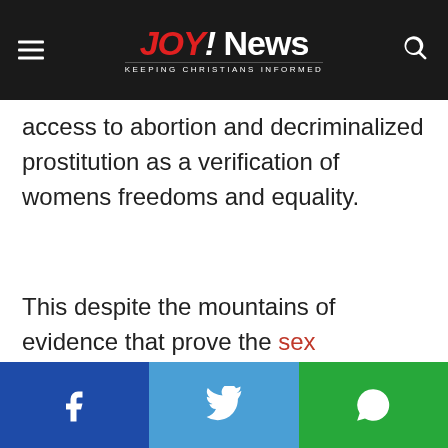JOY! News – Keeping Christians Informed
access to abortion and decriminalized prostitution as a verification of womens freedoms and equality.
This despite the mountains of evidence that prove the sex
[Figure (other): Social media share bar with Facebook, Twitter, and WhatsApp buttons]